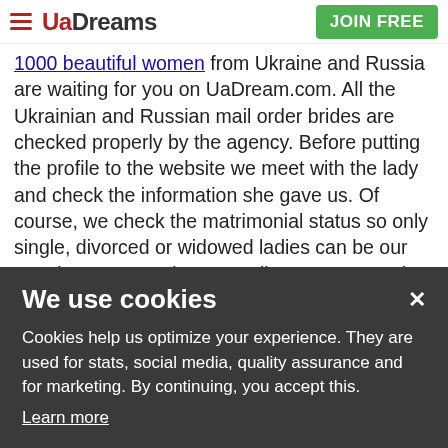UaDreams — JOIN FREE
1000 beautiful women from Ukraine and Russia are waiting for you on UaDream.com. All the Ukrainian and Russian mail order brides are checked properly by the agency. Before putting the profile to the website we meet with the lady and check the information she gave us. Of course, we check the matrimonial status so only single, divorced or widowed ladies can be our members. Our Anti-Scam policy guarantees that ladies are real,
We use cookies

Cookies help us optimize your experience. They are used for stats, social media, quality assurance and for marketing. By continuing, you accept this.
Learn more